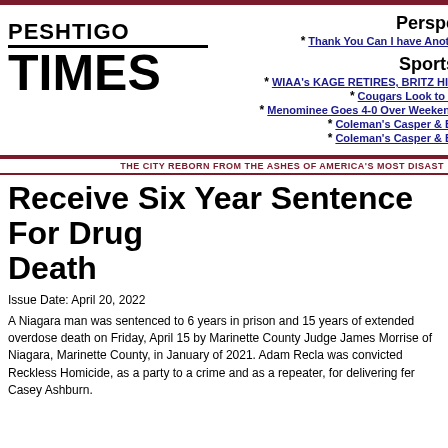[Figure (logo): Peshtigo Times newspaper logo with bold black text]
Perspe
* Thank You Can I have Anoth
Sports
* WIAA's KAGE RETIRES, BRITZ HIR
* Cougars Look to R
* Menominee Goes 4-0 Over Weekenc
* Coleman's Casper & Bi
* Coleman's Casper & Bi
THE CITY REBORN FROM THE ASHES OF AMERICA'S MOST DISAST
Receive Six Year Sentence For Drug Death
Issue Date: April 20, 2022
A Niagara man was sentenced to 6 years in prison and 15 years of extended overdose death on Friday, April 15 by Marinette County Judge James Morrise of Niagara, Marinette County, in January of 2021. Adam Recla was convicted Reckless Homicide, as a party to a crime and as a repeater, for delivering fer Casey Ashburn.